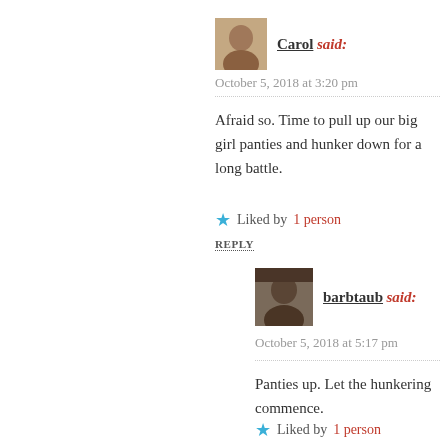Carol said:
October 5, 2018 at 3:20 pm
Afraid so. Time to pull up our big girl panties and hunker down for a long battle.
Liked by 1 person
REPLY
barbtaub said:
October 5, 2018 at 5:17 pm
Panties up. Let the hunkering commence.
Liked by 1 person
REPLY